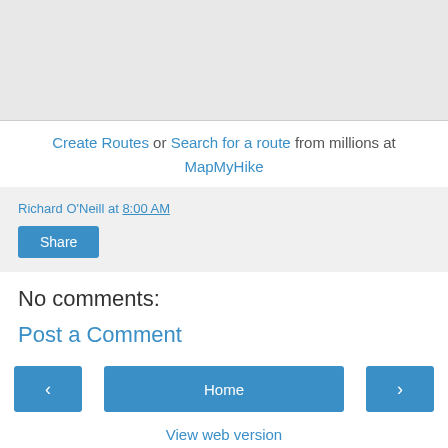[Figure (map): A light grey map area showing a geographic map background]
Create Routes or Search for a route from millions at MapMyHike
Richard O'Neill at 8:00 AM
Share
No comments:
Post a Comment
‹
Home
›
View web version
Powered by Blogger.